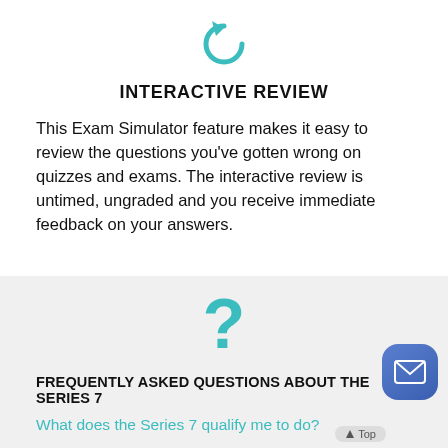[Figure (illustration): Teal/turquoise undo/refresh arrow icon centered at top]
INTERACTIVE REVIEW
This Exam Simulator feature makes it easy to review the questions you've gotten wrong on quizzes and exams. The interactive review is untimed, ungraded and you receive immediate feedback on your answers.
[Figure (illustration): Teal question mark icon centered]
FREQUENTLY ASKED QUESTIONS ABOUT THE SERIES 7
What does the Series 7 qualify me to do?